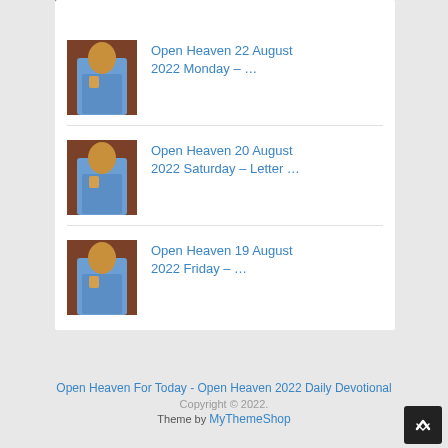[Figure (photo): Thumbnail of a man in a blue suit, partially visible at top]
Open Heaven 22 August 2022 Monday – …
Open Heaven 20 August 2022 Saturday – Letter …
Open Heaven 19 August 2022 Friday – …
Open Heaven For Today - Open Heaven 2022 Daily Devotional
Copyright © 2022.
Theme by MyThemeShop